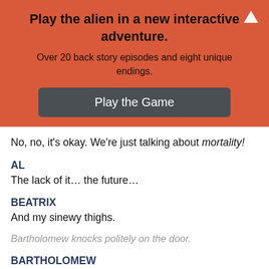Play the alien in a new interactive adventure.
Over 20 back story episodes and eight unique endings.
Play the Game
No, no, it’s okay. We’re just talking about mortality!
AL
The lack of it… the future…
BEATRIX
And my sinewy thighs.
Bartholomew knocks politely on the door.
BARTHOLOMEW
(from outside)